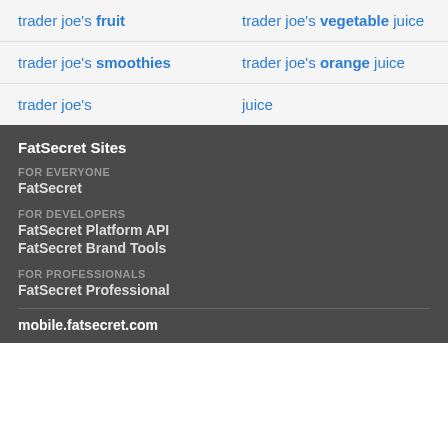trader joe's fruit
trader joe's vegetable juice
trader joe's smoothies
trader joe's orange juice
trader joe's
juice
FatSecret Sites
FOR EVERYONE
FatSecret
FOR DEVELOPERS
FatSecret Platform API
FatSecret Brand Tools
FOR PROFESSIONALS
FatSecret Professional
mobile.fatsecret.com